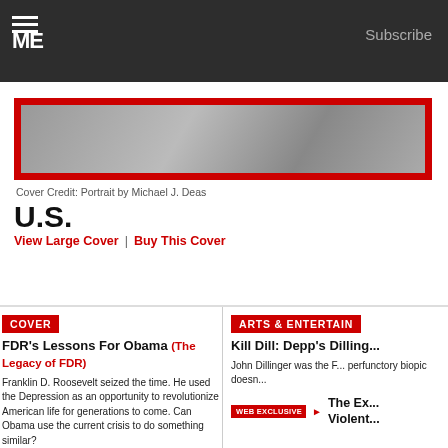Subscribe
[Figure (photo): TIME magazine cover with red border, portrait photo by Michael J. Deas]
Cover Credit: Portrait by Michael J. Deas
U.S.
View Large Cover | Buy This Cover
COVER
FDR's Lessons For Obama (The Legacy of FDR)
Franklin D. Roosevelt seized the time. He used the Depression as an opportunity to revolutionize American life for generations to come. Can Obama use the current crisis to do something similar?
ARTS & ENTERTAINMENT
Kill Dill: Depp's Dillinger
John Dillinger was the F... perfunctory biopic doesn...
WEB EXCLUSIVE The Ex... Violent...